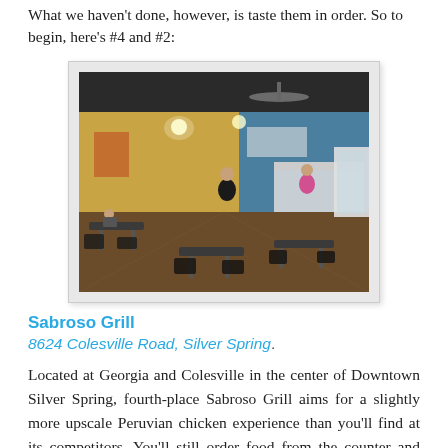What we haven't done, however, is taste them in order. So to begin, here's #4 and #2:
[Figure (photo): Interior of Sabroso Grill restaurant showing dining tables with chairs, a counter/kitchen area in the background, yellow and blue walls, dark ceiling with ceiling fan, and a few customers and staff members visible.]
Sabroso Grill
8624 Colesville Road, Silver Spring.
Located at Georgia and Colesville in the center of Downtown Silver Spring, fourth-place Sabroso Grill aims for a slightly more upscale Peruvian chicken experience than you'll find at its competitors. You'll still order food from the counter and watch a man with a large knife hack a chicken apart in front